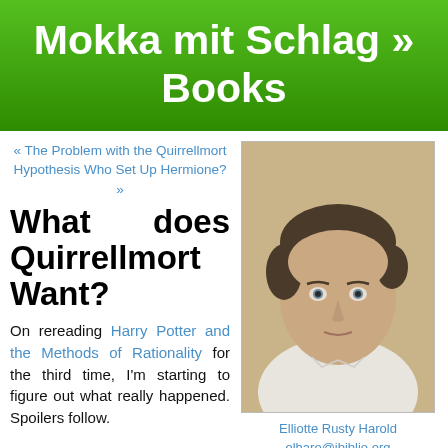Mokka mit Schlag » Books
« The Problem with the Quirrellmort Hypothesis Who Set Up Hermione? »
What does Quirrellmort Want?
On rereading Harry Potter and the Methods of Rationality for the third time, I'm starting to figure out what really happened. Spoilers follow.
[Figure (photo): Portrait photo of a middle-aged man with dark hair wearing a white collared shirt, against a neutral background]
Elliotte Rusty Harold
elharo@ibiblio.org